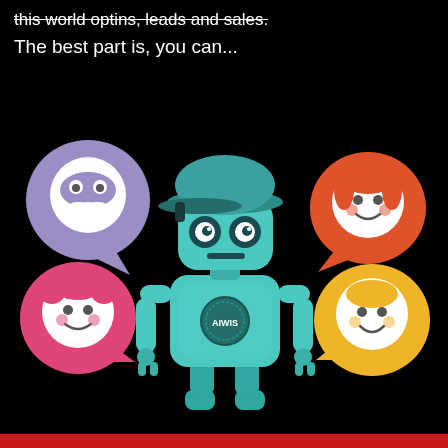this world optins, leads and sales.
The best part is, you can...
[Figure (illustration): A teal robot character wearing a baseball cap, with four speech bubbles containing avatar faces: a masked villain (purple bubble, top-left), a woman (orange bubble, top-right), a girl with pigtails (pink bubble, bottom-left), and a bald child (yellow bubble, bottom-right). The robot has 'AIWIS' on its chest badge.]